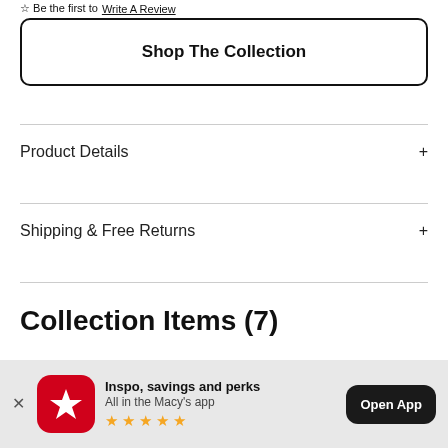Be the first to Write A Review
Shop The Collection
Product Details
Shipping & Free Returns
Collection Items (7)
Inspo, savings and perks
All in the Macy's app
★★★★★
Open App